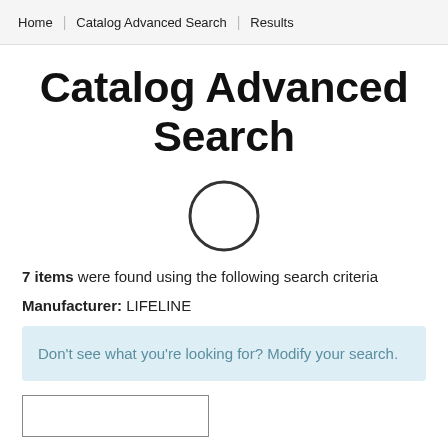Home | Catalog Advanced Search | Results
Catalog Advanced Search
7 items were found using the following search criteria
Manufacturer: LIFELINE
Don't see what you're looking for? Modify your search.